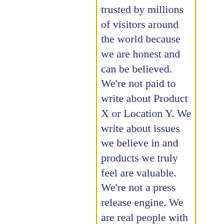trusted by millions of visitors around the world because we are honest and can be believed. We're not paid to write about Product X or Location Y. We write about issues we believe in and products we truly feel are valuable. We're not a press release engine. We are real people with real points of view. We each